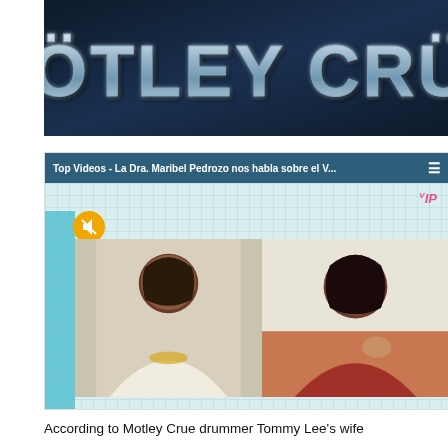[Figure (photo): Mötley Crüe band logo banner with metallic chrome-style text on dark blue/grey background]
[Figure (screenshot): Video player screenshot showing 'Top Videos - La Dra. Maribel Pedrozo nos habla sobre el V...' with two women in split-screen video call. VIP badge visible top right. Mute button (yellow circle) top left. Blue sidebar and pink triangle decoration.]
According to Motley Crue drummer Tommy Lee's wife